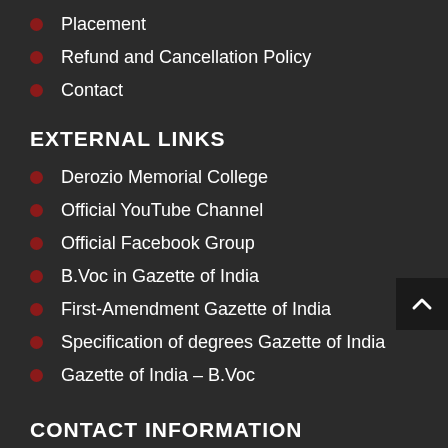Placement
Refund and Cancellation Policy
Contact
EXTERNAL LINKS
Derozio Memorial College
Official YouTube Channel
Official Facebook Group
B.Voc in Gazette of India
First-Amendment Gazette of India
Specification of degrees Gazette of India
Gazette of India – B.Voc
CONTACT INFORMATION